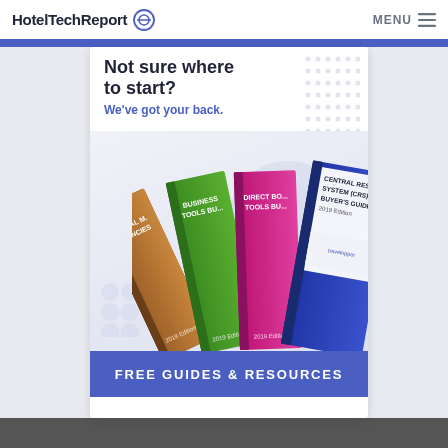HotelTechReport [logo] | MENU
Not sure where to start?
We've got your back.
[Figure (illustration): Fan of book guides: Digital Marketing Agencies 2019 Edition, Business Tools Buyer's Guide 2019 Edition, Direct Booking Tools Buyer's Guide 2019 Edition, Central Reservation System (CRS) Buyer's Guide 2019 Edition]
FREE GUIDES & RESOURCES